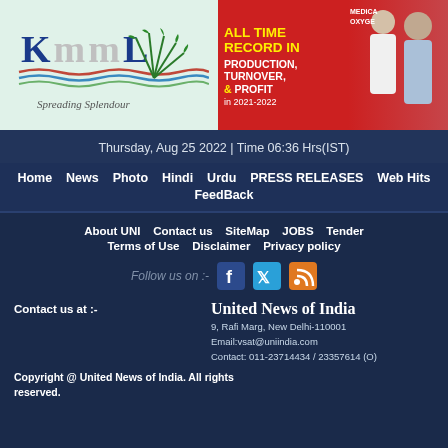[Figure (logo): KMML logo with 'Spreading Splendour' tagline on left, advertisement banner on right showing 'ALL TIME RECORD In PRODUCTION, TURNOVER, & PROFIT in 2021-2022' with photo of two people]
Thursday, Aug 25 2022 | Time 06:36 Hrs(IST)
Home   News   Photo   Hindi   Urdu   PRESS RELEASES   Web Hits   FeedBack
About UNI   Contact us   SiteMap   JOBS   Tender   Terms of Use   Disclaimer   Privacy policy
Follow us on :-
Contact us at :-
United News of India
9, Rafi Marg, New Delhi-110001
Email:vsat@uniindia.com
Contact: 011-23714434 / 23357614 (O)
Copyright @ United News of India. All rights reserved.